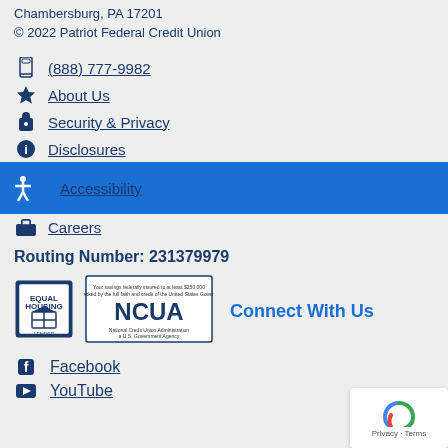Chambersburg, PA 17201
© 2022 Patriot Federal Credit Union
(888) 777-9982
About Us
Security & Privacy
Disclosures
Accessibility
Careers
Routing Number: 231379979
[Figure (logo): Equal Housing Lender logo]
[Figure (logo): NCUA - National Credit Union Administration logo]
Connect With Us
Facebook
YouTube